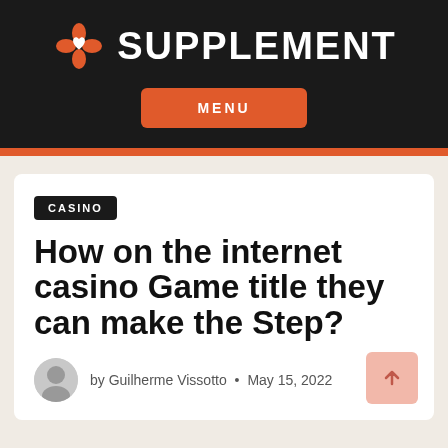SUPPLEMENT
MENU
CASINO
How on the internet casino Game title they can make the Step?
by Guilherme Vissotto • May 15, 2022